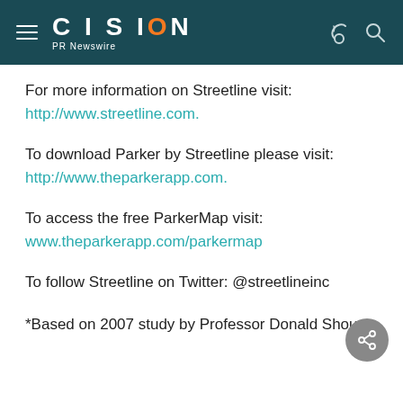CISION PR Newswire
For more information on Streetline visit:
http://www.streetline.com.
To download Parker by Streetline please visit:
http://www.theparkerapp.com.
To access the free ParkerMap visit:
www.theparkerapp.com/parkermap
To follow Streetline on Twitter: @streetlineinc
*Based on 2007 study by Professor Donald Shoup,